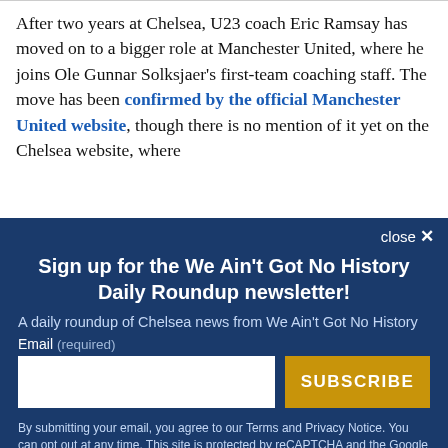After two years at Chelsea, U23 coach Eric Ramsay has moved on to a bigger role at Manchester United, where he joins Ole Gunnar Solksjaer's first-team coaching staff. The move has been confirmed by the official Manchester United website, though there is no mention of it yet on the Chelsea website, where
close ×
Sign up for the We Ain't Got No History Daily Roundup newsletter!
A daily roundup of Chelsea news from We Ain't Got No History
Email (required)
SUBSCRIBE
By submitting your email, you agree to our Terms and Privacy Notice. You can opt out at any time. This site is protected by reCAPTCHA and the Google Privacy Policy and Terms of Service apply.